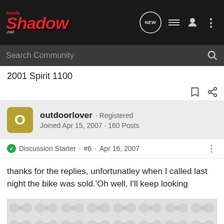[Figure (screenshot): Honda Shadow .net website logo in red italic text on dark background]
Search Community
2001 Spirit 1100
outdoorlover · Registered
Joined Apr 15, 2007 · 160 Posts
Discussion Starter · #6 · Apr 16, 2007
thanks for the replies, unfortunatley when I called last night the bike was sold.'Oh well, I'll keep looking